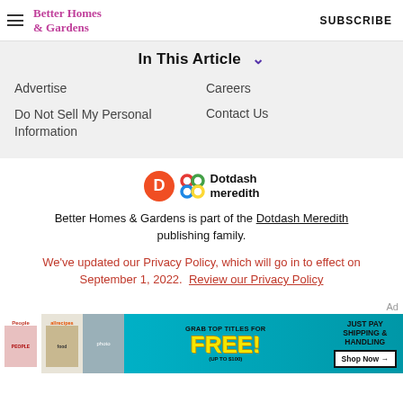Better Homes & Gardens — SUBSCRIBE
In This Article
Advertise
Careers
Do Not Sell My Personal Information
Contact Us
[Figure (logo): Dotdash Meredith logo — orange circle with D and colorful woven knot icon beside text 'Dotdash meredith']
Better Homes & Gardens is part of the Dotdash Meredith publishing family.
We've updated our Privacy Policy, which will go in to effect on September 1, 2022. Review our Privacy Policy
[Figure (infographic): Advertisement banner: People and allrecipes magazine covers, 'Grab top titles for FREE! (up to $100)' with 'Just Pay Shipping & Handling — Shop Now →' button on teal background]